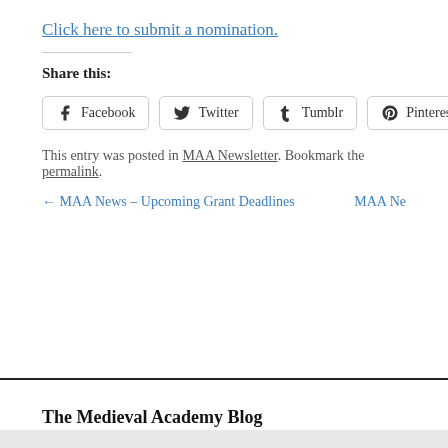Click here to submit a nomination.
Share this:
Facebook  Twitter  Tumblr  Pinterest
This entry was posted in MAA Newsletter. Bookmark the permalink.
← MAA News – Upcoming Grant Deadlines    MAA Ne…
The Medieval Academy Blog